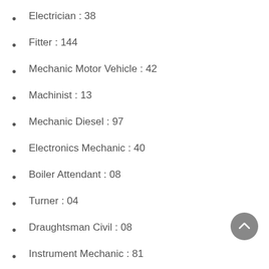Electrician : 38
Fitter : 144
Mechanic Motor Vehicle : 42
Machinist : 13
Mechanic Diesel : 97
Electronics Mechanic : 40
Boiler Attendant : 08
Turner : 04
Draughtsman Civil : 08
Instrument Mechanic : 81
10+2 with Physics, Chemistry and Mathematics : 44
Surveyor : 05
Welder : 06